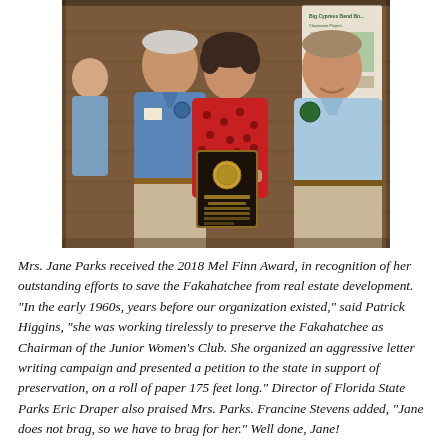[Figure (photo): Three people standing together indoors. A tall man in a blue shirt on the left, a woman in a red patterned top in the center holding a wooden award plaque, and a man in a light blue shirt on the right. Background shows a wooden wall and a poster about Big Cypress Bend Boardwalk.]
Mrs. Jane Parks received the 2018 Mel Finn Award, in recognition of her outstanding efforts to save the Fakahatchee from real estate development. "In the early 1960s, years before our organization existed," said Patrick Higgins, "she was working tirelessly to preserve the Fakahatchee as Chairman of the Junior Women's Club. She organized an aggressive letter writing campaign and presented a petition to the state in support of preservation, on a roll of paper 175 feet long." Director of Florida State Parks Eric Draper also praised Mrs. Parks. Francine Stevens added, "Jane does not brag, so we have to brag for her." Well done, Jane!